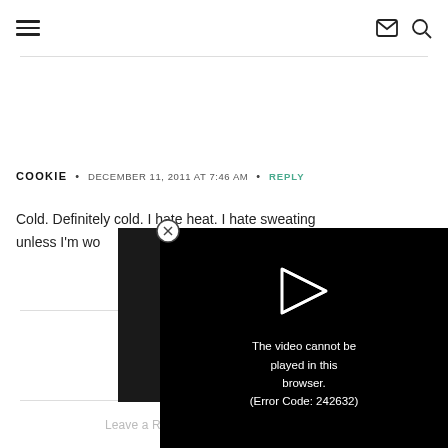COOKIE • DECEMBER 11, 2011 AT 7:46 AM • REPLY
Cold. Definitely cold. I hate heat. I hate sweating unless I'm wo...
[Figure (screenshot): Video player overlay showing error message: 'The video cannot be played in this browser. (Error Code: 242632)' with a close button (x) and play arrow icon on black background.]
Leave a Reply to Cat @Breakfast to Bed ....